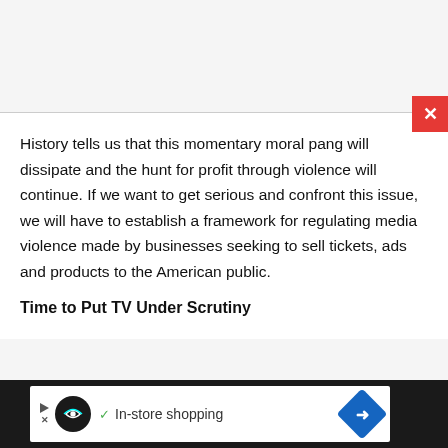History tells us that this momentary moral pang will dissipate and the hunt for profit through violence will continue. If we want to get serious and confront this issue, we will have to establish a framework for regulating media violence made by businesses seeking to sell tickets, ads and products to the American public.
Time to Put TV Under Scrutiny
[Figure (other): Advertisement banner at the bottom of the page showing a dark background with a white ad unit containing a loop icon, checkmark, 'In-store shopping' text, and a blue diamond navigation icon. A red close button with an X is visible in the upper right of the ad area.]